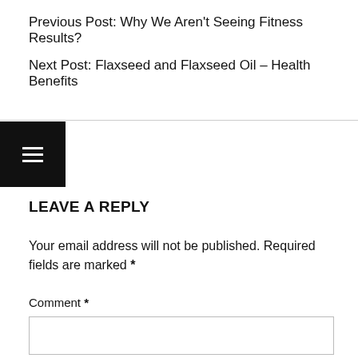Previous Post: Why We Aren't Seeing Fitness Results?
Next Post: Flaxseed and Flaxseed Oil – Health Benefits
LEAVE A REPLY
Your email address will not be published. Required fields are marked *
Comment *